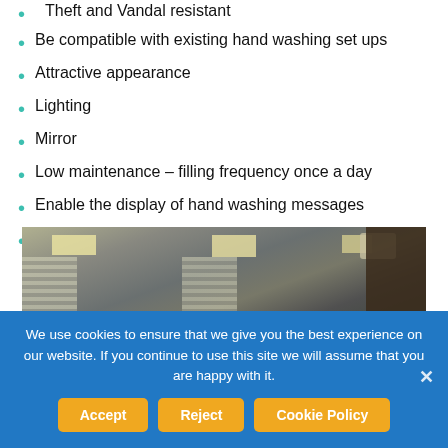Theft and Vandal resistant
Be compatible with existing hand washing set ups
Attractive appearance
Lighting
Mirror
Low maintenance – filling frequency once a day
Enable the display of hand washing messages
Be able to present other nudges
[Figure (photo): Interior photo of a room with ceiling lights, window blinds, and a projector mounted on the ceiling, with a dark wood panel wall on the right]
We use cookies to ensure that we give you the best experience on our website. If you continue to use this site we will assume that you are happy with it.
Accept
Reject
Cookie Policy